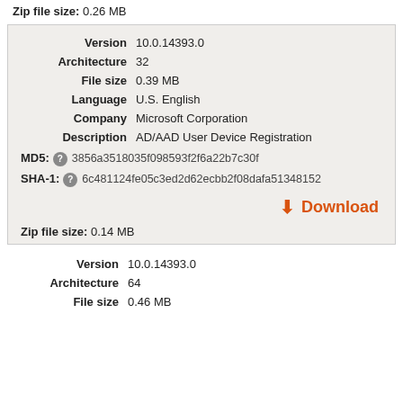Zip file size: 0.26 MB
| Field | Value |
| --- | --- |
| Version | 10.0.14393.0 |
| Architecture | 32 |
| File size | 0.39 MB |
| Language | U.S. English |
| Company | Microsoft Corporation |
| Description | AD/AAD User Device Registration |
| MD5: | 3856a3518035f098593f2f6a22b7c30f |
| SHA-1: | 6c481124fe05c3ed2d62ecbb2f08dafa51348152 |
Download
Zip file size: 0.14 MB
| Field | Value |
| --- | --- |
| Version | 10.0.14393.0 |
| Architecture | 64 |
| File size | 0.46 MB |